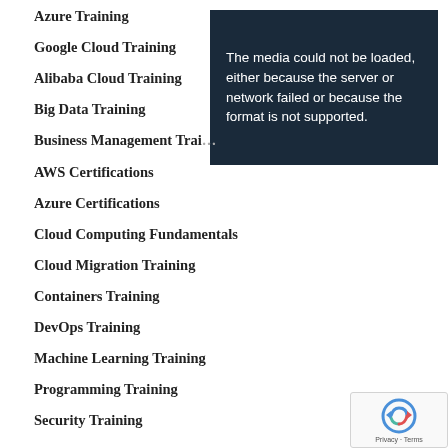Azure Training
Google Cloud Training
Alibaba Cloud Training
Big Data Training
Business Management Training
[Figure (screenshot): Video player error message: 'The media could not be loaded, either because the server or network failed or because the format is not supported.']
AWS Certifications
Azure Certifications
Cloud Computing Fundamentals
Cloud Migration Training
Containers Training
DevOps Training
Machine Learning Training
Programming Training
Security Training